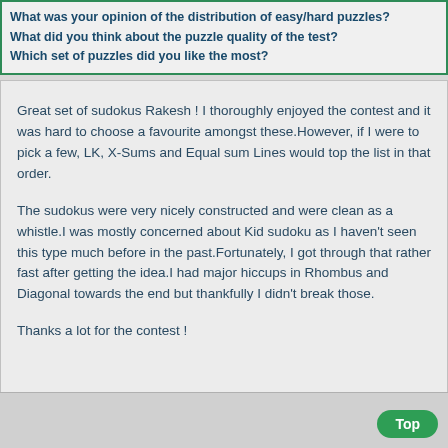What was your opinion of the distribution of easy/hard puzzles?
What did you think about the puzzle quality of the test?
Which set of puzzles did you like the most?
Great set of sudokus Rakesh ! I thoroughly enjoyed the contest and it was hard to choose a favourite amongst these.However, if I were to pick a few, LK, X-Sums and Equal sum Lines would top the list in that order.

The sudokus were very nicely constructed and were clean as a whistle.I was mostly concerned about Kid sudoku as I haven't seen this type much before in the past.Fortunately, I got through that rather fast after getting the idea.I had major hiccups in Rhombus and Diagonal towards the end but thankfully I didn't break those.

Thanks a lot for the contest !